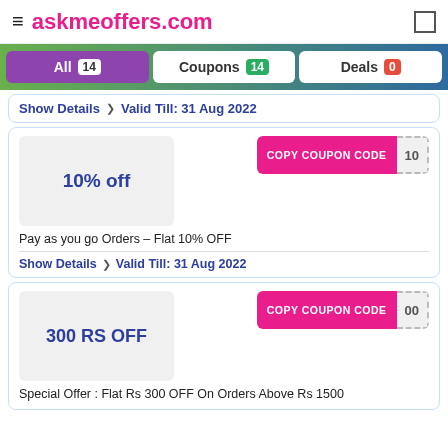≡ askmeoffers.com
All 14   Coupons 14   Deals 0
Show Details  ❯  Valid Till: 31 Aug 2022
10% off
Pay as you go Orders – Flat 10% OFF
Show Details  ❯  Valid Till: 31 Aug 2022
300 RS OFF
Special Offer : Flat Rs 300 OFF On Orders Above Rs 1500